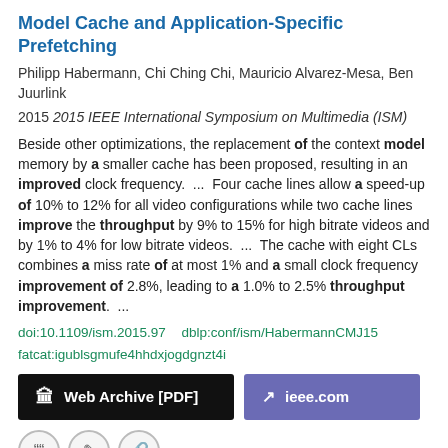Model Cache and Application-Specific Prefetching
Philipp Habermann, Chi Ching Chi, Mauricio Alvarez-Mesa, Ben Juurlink
2015 2015 IEEE International Symposium on Multimedia (ISM)
Beside other optimizations, the replacement of the context model memory by a smaller cache has been proposed, resulting in an improved clock frequency.  ...  Four cache lines allow a speed-up of 10% to 12% for all video configurations while two cache lines improve the throughput by 9% to 15% for high bitrate videos and by 1% to 4% for low bitrate videos.  ...  The cache with eight CLs combines a miss rate of at most 1% and a small clock frequency improvement of 2.8%, leading to a 1.0% to 2.5% throughput improvement.  ...
doi:10.1109/ism.2015.97  dblp:conf/ism/HabermannCMJ15 fatcat:igublsgmufe4hhdxjogdgnzt4i
Web Archive [PDF]   ieee.com
Efficient query processing in distributed search